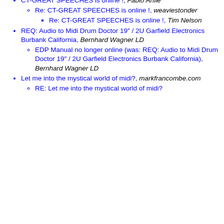CT-GREAT SPEECHES is online !, Fabio Anile
Re: CT-GREAT SPEECHES is online !, weaviestonder
Re: CT-GREAT SPEECHES is online !, Tim Nelson
REQ: Audio to Midi Drum Doctor 19" / 2U Garfield Electronics Burbank California, Bernhard Wagner LD
EDP Manual no longer online (was: REQ: Audio to Midi Drum Doctor 19" / 2U Garfield Electronics Burbank California), Bernhard Wagner LD
Let me into the mystical world of midi?, markfrancombe.com
RE: Let me into the mystical world of midi?